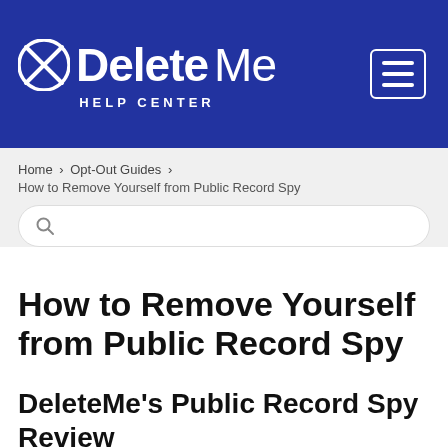DeleteMe HELP CENTER
Home > Opt-Out Guides > How to Remove Yourself from Public Record Spy
How to Remove Yourself from Public Record Spy
DeleteMe's Public Record Spy Review